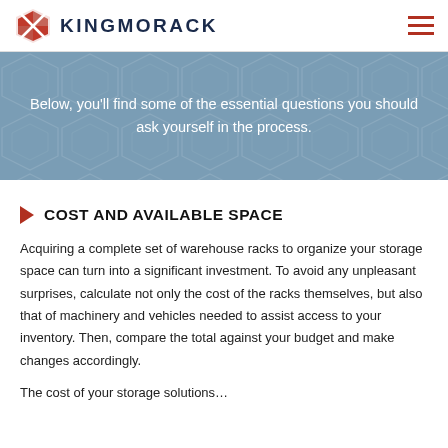KINGMORACK
Below, you'll find some of the essential questions you should ask yourself in the process.
COST AND AVAILABLE SPACE
Acquiring a complete set of warehouse racks to organize your storage space can turn into a significant investment. To avoid any unpleasant surprises, calculate not only the cost of the racks themselves, but also that of machinery and vehicles needed to assist access to your inventory. Then, compare the total against your budget and make changes accordingly.
The cost of your storage solutions…